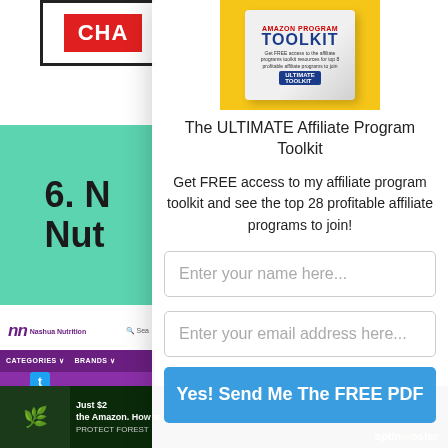[Figure (screenshot): Left column showing partial webpage content: red CHA button, teal block with '6. N Nut' text, Nashua Nutrition website screenshot with purple bar and '10' number]
[Figure (illustration): Toolkit box image on yellow background - The ULTIMATE Affiliate Program Toolkit]
The ULTIMATE Affiliate Program Toolkit
Get FREE access to my affiliate program toolkit and see the top 28 profitable affiliate programs to join!
Enter your name here...
Enter your email address here...
Yes! Send Me The FREE PDF
[Figure (screenshot): Bottom banner with dark forest background, rainforest conservation text, and OptinMonster branding]